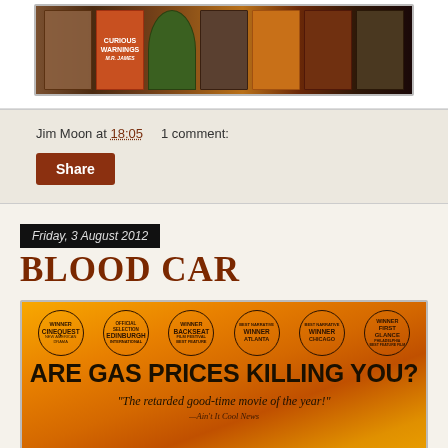[Figure (photo): Row of book covers on a dark background]
Jim Moon at 18:05    1 comment:
Share
Friday, 3 August 2012
BLOOD CAR
[Figure (photo): Blood Car movie poster with orange background showing award badges, headline 'ARE GAS PRICES KILLING YOU?' and quote 'The retarded good-time movie of the year!' — Ain't It Cool News]